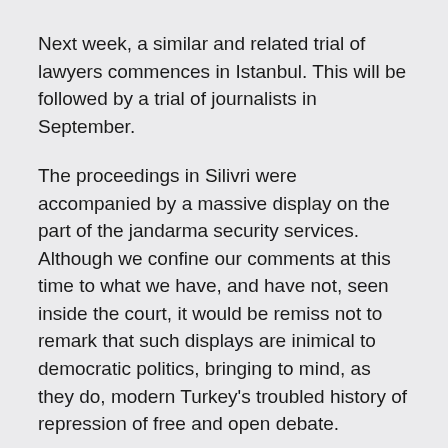Next week, a similar and related trial of lawyers commences in Istanbul. This will be followed by a trial of journalists in September.
The proceedings in Silivri were accompanied by a massive display on the part of the jandarma security services. Although we confine our comments at this time to what we have, and have not, seen inside the court, it would be remiss not to remark that such displays are inimical to democratic politics, bringing to mind, as they do, modern Turkey's troubled history of repression of free and open debate.